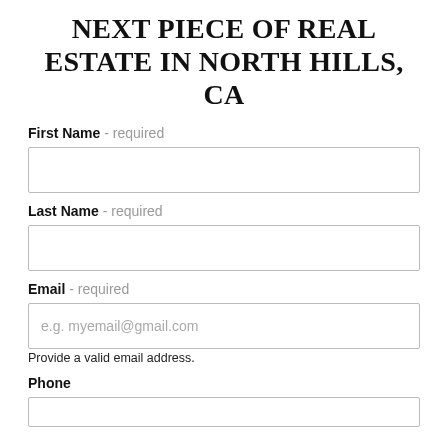NEXT PIECE OF REAL ESTATE IN NORTH HILLS, CA
First Name - required
Last Name - required
Email - required
e.g. myemail@gmail.com
Provide a valid email address.
Phone